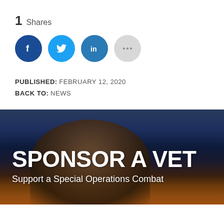1  Shares
[Figure (infographic): Four social sharing buttons: Facebook (dark blue circle with f), Twitter (blue circle with bird icon), LinkedIn (teal-blue circle with 'in'), and More (gray circle with three dots)]
PUBLISHED: FEBRUARY 12, 2020
BACK TO: NEWS
[Figure (photo): Background image of a person (veteran) photographed from behind/above against a dramatic sunset sky with birds flying. Overlaid with large white bold text 'SPONSOR A VET' and subtitle 'Support a Special Operations Combat']